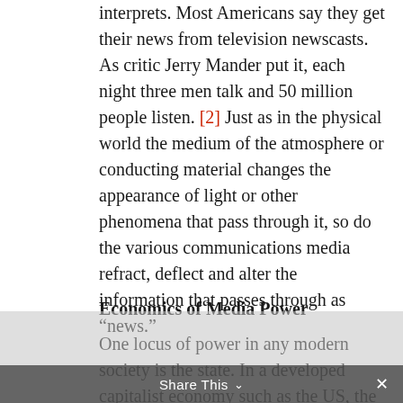interprets. Most Americans say they get their news from television newscasts. As critic Jerry Mander put it, each night three men talk and 50 million people listen. [2] Just as in the physical world the medium of the atmosphere or conducting material changes the appearance of light or other phenomena that pass through it, so do the various communications media refract, deflect and alter the information that passes through as “news.”
Economics of Media Power
One locus of power in any modern society is the state. In a developed capitalist economy such as the US, the other locus of power is economic. Media is business — big business. The top media conglomerates — Time Warner